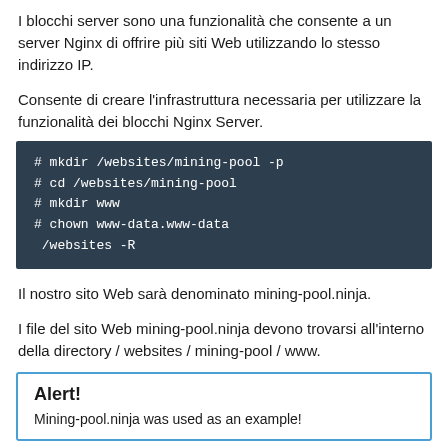I blocchi server sono una funzionalità che consente a un server Nginx di offrire più siti Web utilizzando lo stesso indirizzo IP.
Consente di creare l'infrastruttura necessaria per utilizzare la funzionalità dei blocchi Nginx Server.
# mkdir /websites/mining-pool -p
# cd /websites/mining-pool
# mkdir www
# chown www-data.www-data /websites -R
Il nostro sito Web sarà denominato mining-pool.ninja.
I file del sito Web mining-pool.ninja devono trovarsi all'interno della directory / websites / mining-pool / www.
Alert!
Mining-pool.ninja was used as an example!